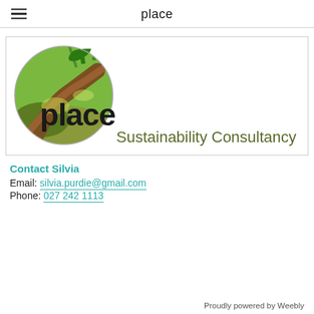place
[Figure (logo): Place Sustainability Consultancy logo: circular painted nature illustration with tree root and green plants, overlaid with bold text 'place', below which reads 'Sustainability Consultancy' in olive/dark green.]
Contact Silvia
Email: silvia.purdie@gmail.com
Phone: 027 242 1113
Proudly powered by Weebly